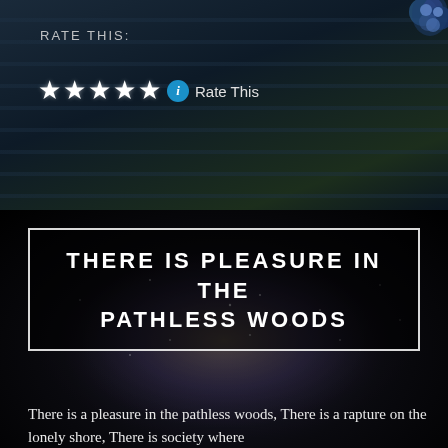[Figure (screenshot): Dark fantasy background with stone steps and blue flowers in the top right corner]
RATE THIS:
★★★★★ ℹ Rate This
[Figure (photo): Dark space/galaxy background with starfield glow]
THERE IS PLEASURE IN THE PATHLESS WOODS
There is a pleasure in the pathless woods, There is a rapture on the lonely shore, There is society where